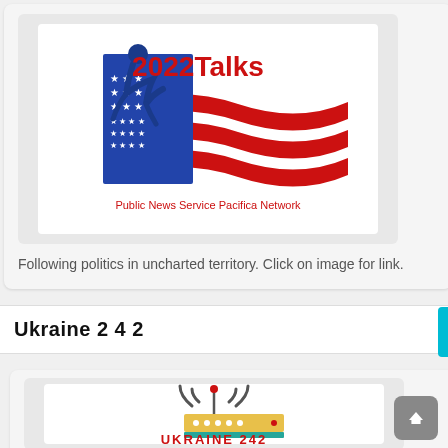[Figure (logo): 2022Talks logo with American flag motif, runner silhouette in blue, red stripes, 'Public News Service   Pacifica Network' text at bottom in red]
Following politics in uncharted territory. Click on image for link.
Ukraine 2 4 2
[Figure (logo): Ukraine 242 logo with radio tower/router graphic in grey, yellow and teal, with red 'UKRAINE 242' text at bottom]